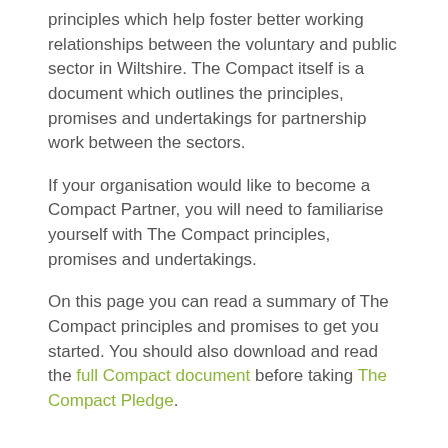principles which help foster better working relationships between the voluntary and public sector in Wiltshire. The Compact itself is a document which outlines the principles, promises and undertakings for partnership work between the sectors.
If your organisation would like to become a Compact Partner, you will need to familiarise yourself with The Compact principles, promises and undertakings.
On this page you can read a summary of The Compact principles and promises to get you started. You should also download and read the full Compact document before taking The Compact Pledge.